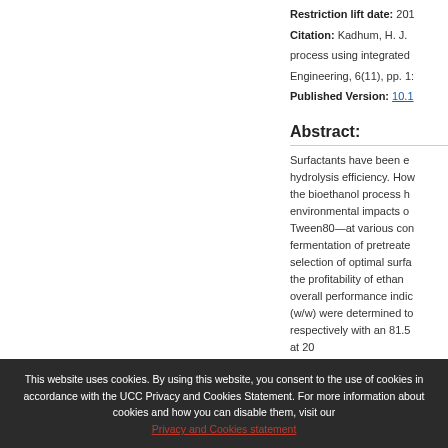Restriction lift date: 201...
Citation: Kadhum, H. J. ... process using integrated ... Engineering, 6(11), pp. 1...
Published Version: 10.1...
Abstract:
Surfactants have been ... hydrolysis efficiency. How... the bioethanol process h... environmental impacts o... Tween80—at various con... fermentation of pretreate... selection of optimal surfa... the profitability of ethan... overall performance indic... (w/w) were determined to... respectively with an 81.5... at 20... 6 g CO2/MJ ethanol prod...
This website uses cookies. By using this website, you consent to the use of cookies in accordance with the UCC Privacy and Cookies Statement. For more information about cookies and how you can disable them, visit our Privacy and Cookies statement